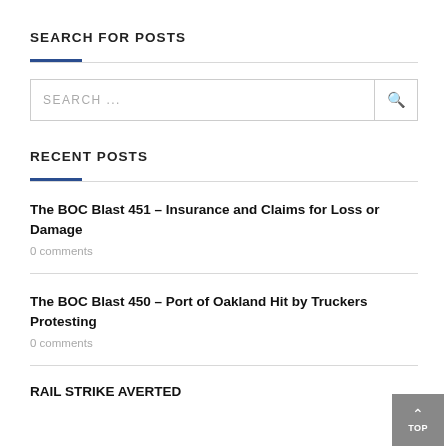SEARCH FOR POSTS
SEARCH ...
RECENT POSTS
The BOC Blast 451 – Insurance and Claims for Loss or Damage
0 comments
The BOC Blast 450 – Port of Oakland Hit by Truckers Protesting
0 comments
RAIL STRIKE AVERTED